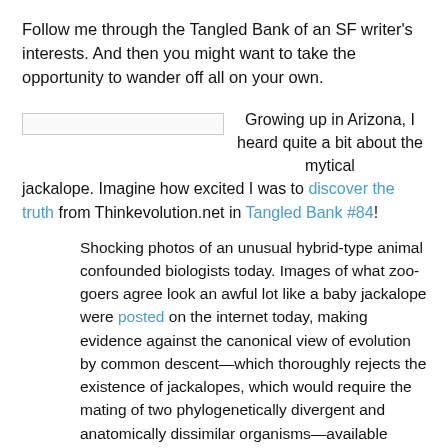Follow me through the Tangled Bank of an SF writer's interests. And then you might want to take the opportunity to wander off all on your own.
Growing up in Arizona, I heard quite a bit about the mytical jackalope. Imagine how excited I was to discover the truth from Thinkevolution.net in Tangled Bank #84!
Shocking photos of an unusual hybrid-type animal confounded biologists today. Images of what zoo-goers agree look an awful lot like a baby jackalope were posted on the internet today, making evidence against the canonical view of evolution by common descent—which thoroughly rejects the existence of jackalopes, which would require the mating of two phylogenetically divergent and anatomically dissimilar organisms—available worldwide. Jackalopes, also known as “antelabbits” or “stagbunnies” according to Wikipedia, had long been rejected as imaginary joke animals that people from the southwest described to